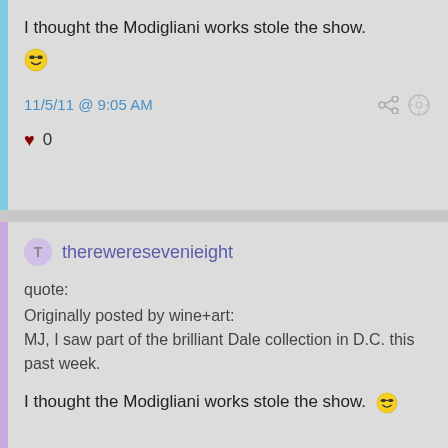I thought the Modigliani works stole the show. 😎
11/5/11 @ 9:05 AM
♥ 0
thereweresevenieight
quote:
Originally posted by wine+art:
MJ, I saw part of the brilliant Dale collection in D.C. this past week.

I thought the Modigliani works stole the show. 😎